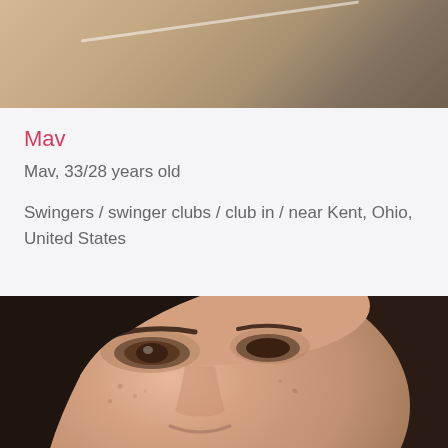[Figure (photo): Partial photo cropped at top, showing a wooden surface with diagonal light streak, warm brown tones]
Mav
Mav, 33/28 years old
Swingers / swinger clubs / club in / near Kent, Ohio, United States
[Figure (photo): Close-up selfie photo of a woman with dark hair, freckled skin, looking into camera with a slight smile]